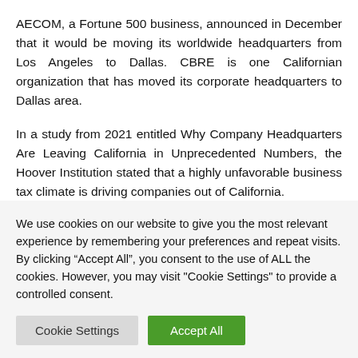AECOM, a Fortune 500 business, announced in December that it would be moving its worldwide headquarters from Los Angeles to Dallas. CBRE is one Californian organization that has moved its corporate headquarters to Dallas area.
In a study from 2021 entitled Why Company Headquarters Are Leaving California in Unprecedented Numbers, the Hoover Institution stated that a highly unfavorable business tax climate is driving companies out of California.
When it comes time to move your business, multi-office
We use cookies on our website to give you the most relevant experience by remembering your preferences and repeat visits. By clicking “Accept All”, you consent to the use of ALL the cookies. However, you may visit "Cookie Settings" to provide a controlled consent.